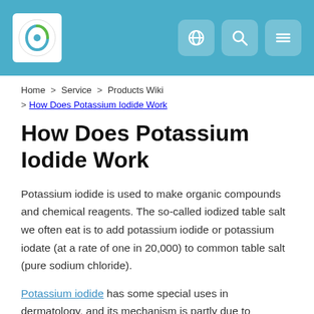Header with logo and navigation icons
Home > Service > Products Wiki > How Does Potassium Iodide Work
How Does Potassium Iodide Work
Potassium iodide is used to make organic compounds and chemical reagents. The so-called iodized table salt we often eat is to add potassium iodide or potassium iodate (at a rate of one in 20,000) to common table salt (pure sodium chloride).
Potassium iodide has some special uses in dermatology, and its mechanism is partly due to enhanced dissolution and digestion of necrotic tissue. Potassium iodide also has antifungal activity and is used clinically to treat sporotrichosis, dysentery, persistent